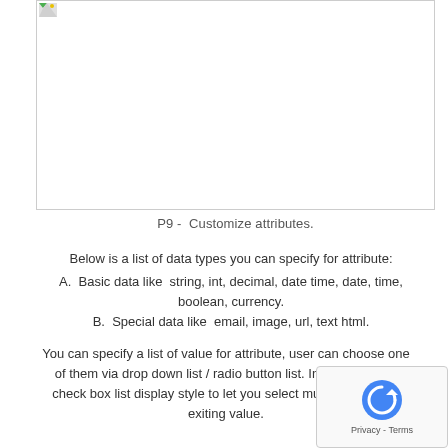[Figure (screenshot): A screenshot or image placeholder with a small broken image icon in the top-left corner, bordered box occupying the upper portion of the page.]
P9 -  Customize attributes.
Below is a list of data types you can specify for attribute:
A.  Basic data like  string, int, decimal, date time, date, time, boolean, currency.
B.  Special data like  email, image, url, text html.
You can specify a list of value for attribute, user can choose one of them via drop down list / radio button list. In v7.3, we add check box list display style to let you select multiple items from exiting value.